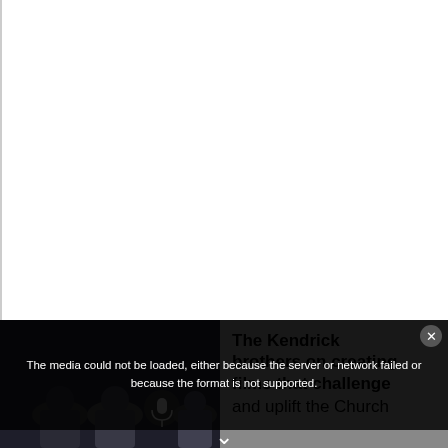[Figure (screenshot): White content area with left border, upper portion of a web page showing a media player]
The media could not be loaded, either because the server or network failed or because the format is not supported.
The Kendrick brothers on creating films that challenge and uplift the Church